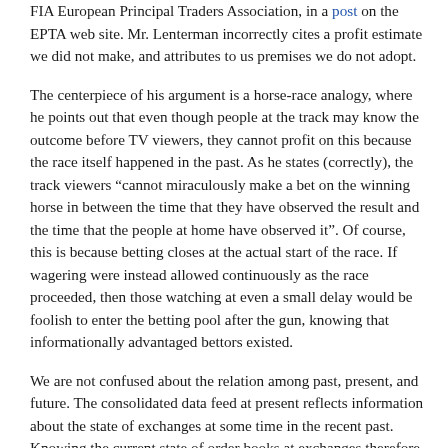FIA European Principal Traders Association, in a post on the EPTA web site. Mr. Lenterman incorrectly cites a profit estimate we did not make, and attributes to us premises we do not adopt.
The centerpiece of his argument is a horse-race analogy, where he points out that even though people at the track may know the outcome before TV viewers, they cannot profit on this because the race itself happened in the past. As he states (correctly), the track viewers “cannot miraculously make a bet on the winning horse in between the time that they have observed the result and the time that the people at home have observed it”. Of course, this is because betting closes at the actual start of the race. If wagering were instead allowed continuously as the race proceeded, then those watching at even a small delay would be foolish to enter the betting pool after the gun, knowing that informationally advantaged bettors existed.
We are not confused about the relation among past, present, and future. The consolidated data feed at present reflects information about the state of exchanges at some time in the recent past. Knowing the current state of order books at exchanges therefore does indeed allow one to predict the near future of the